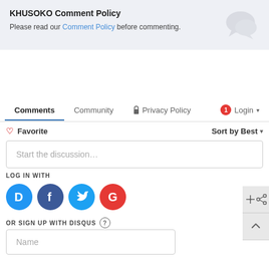KHUSOKO Comment Policy
Please read our Comment Policy before commenting.
Comments  Community  Privacy Policy  1  Login
♡ Favorite    Sort by Best
Start the discussion…
LOG IN WITH
[Figure (infographic): Social login icons: Disqus (blue D), Facebook (dark blue f), Twitter (light blue bird), Google (red G)]
OR SIGN UP WITH DISQUS ?
Name